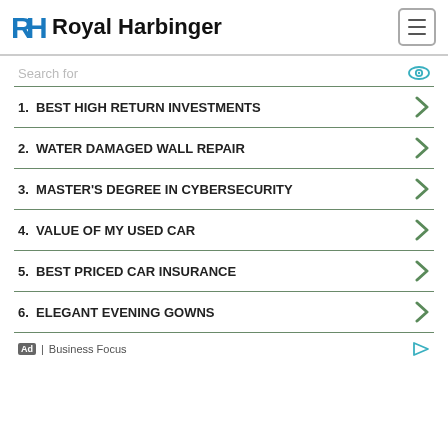Royal Harbinger
Search for
1. BEST HIGH RETURN INVESTMENTS
2. WATER DAMAGED WALL REPAIR
3. MASTER'S DEGREE IN CYBERSECURITY
4. VALUE OF MY USED CAR
5. BEST PRICED CAR INSURANCE
6. ELEGANT EVENING GOWNS
Ad | Business Focus